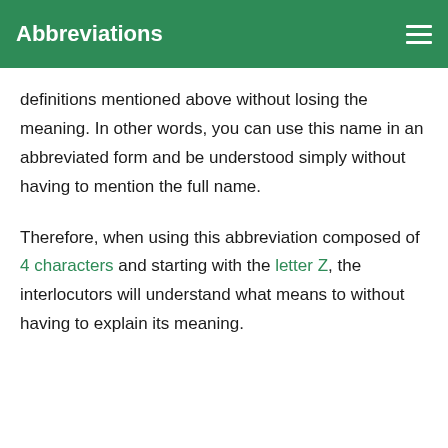Abbreviations
definitions mentioned above without losing the meaning. In other words, you can use this name in an abbreviated form and be understood simply without having to mention the full name.
Therefore, when using this abbreviation composed of 4 characters and starting with the letter Z, the interlocutors will understand what means to without having to explain its meaning.